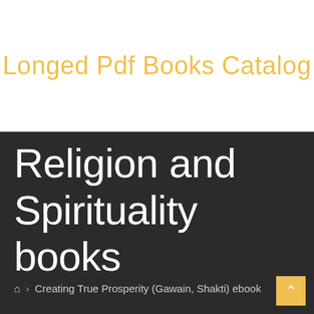Longed Pdf Books Catalog
Religion and Spirituality books
🏠 › Creating True Prosperity (Gawain, Shakti) ebook